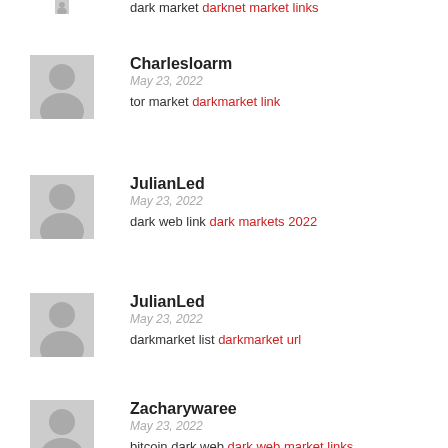dark market darknet market links
Charlesloarm
May 23, 2022
tor market darkmarket link
JulianLed
May 23, 2022
dark web link dark markets 2022
JulianLed
May 23, 2022
darkmarket list darkmarket url
Zacharywaree
May 23, 2022
bitcoin dark web dark web market links